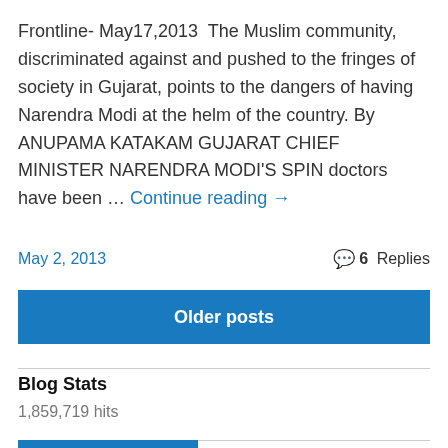Frontline- May17,2013  The Muslim community, discriminated against and pushed to the fringes of society in Gujarat, points to the dangers of having Narendra Modi at the helm of the country. By ANUPAMA KATAKAM GUJARAT CHIEF MINISTER NARENDRA MODI'S SPIN doctors have been … Continue reading →
May 2, 2013   6 Replies
Older posts
Blog Stats
1,859,719 hits